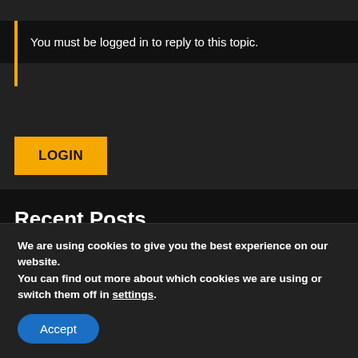You must be logged in to reply to this topic.
LOGIN
Recent Posts
Fake Taxi Irish Girl Masturbates in the Back
We are using cookies to give you the best experience on our website.
You can find out more about which cookies we are using or switch them off in settings.
Accept